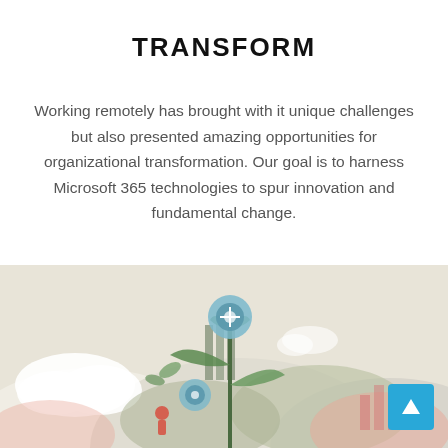TRANSFORM
Working remotely has brought with it unique challenges but also presented amazing opportunities for organizational transformation. Our goal is to harness Microsoft 365 technologies to spur innovation and fundamental change.
[Figure (illustration): An illustration showing a nature/growth scene with plants, flowers, clouds, mountains, and small human figures on a beige/cream background, representing organizational transformation.]